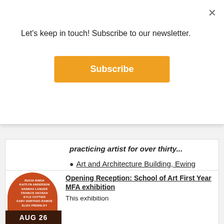Let's keep in touch! Subscribe to our newsletter.
Subscribe
×
practicing artist for over thirty...
Art and Architecture Building, Ewing Gallery, Room 115
10am
[Figure (illustration): Event poster with orange circle on dark background listing artist names: RUCHI SINGH, KAITLYN ANDERSON, HANNAH LANGER, FRANCIS AKOSAH, KYLE COTTIER, GABY HURTADO-RAMOS, ELIZA FRENSLEY, and AUG 26 at the bottom]
Opening Reception: School of Art First Year MFA exhibition
This exhibition